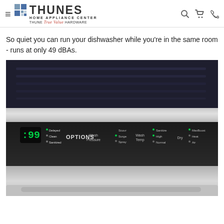Thunes Home Appliance Center / Thune True Value Hardware
So quiet you can run your dishwasher while you're in the same room - runs at only 49 dBAs.
[Figure (photo): Close-up photo of a dishwasher control panel with OPTIONS, Wash Pressure, Scour/Surge/Spray, Wash Temp, Sanitize/High/Normal, Dry, and other controls visible on a dark panel with stainless steel surround.]